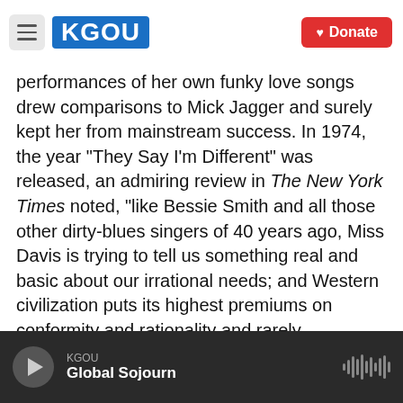KGOU | Donate
performances of her own funky love songs drew comparisons to Mick Jagger and surely kept her from mainstream success. In 1974, the year "They Say I'm Different" was released, an admiring review in The New York Times noted, "like Bessie Smith and all those other dirty-blues singers of 40 years ago, Miss Davis is trying to tell us something real and basic about our irrational needs; and Western civilization puts its highest premiums on conformity and rationality and rarely recognizes the Bessies or the Bettys until they're gone." Betty Davis died on Feb. 9.
KGOU | Global Sojourn